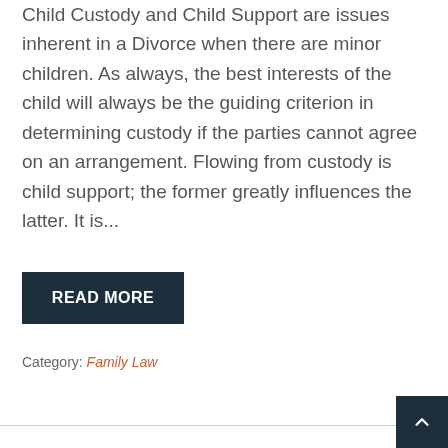Child Custody and Child Support are issues inherent in a Divorce when there are minor children. As always, the best interests of the child will always be the guiding criterion in determining custody if the parties cannot agree on an arrangement. Flowing from custody is child support; the former greatly influences the latter. It is...
READ MORE
Category: Family Law